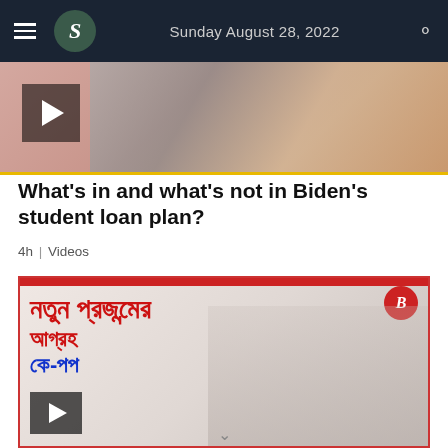Sunday August 28, 2022
[Figure (photo): Partial thumbnail image of coins/money with a play button overlay, bordered by a yellow strip at the bottom]
What's in and what's not in Biden's student loan plan?
4h | Videos
[Figure (photo): Video thumbnail featuring Bangla text (নতুন প্রজন্মের আগ্রহ কে-পপ) in red and blue, with three people and a play button overlay, bordered in red]